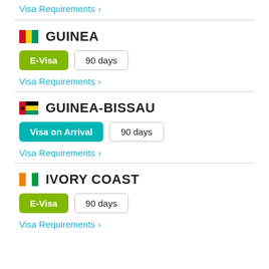Visa Requirements >
GUINEA
E-Visa  90 days
Visa Requirements >
GUINEA-BISSAU
Visa on Arrival  90 days
Visa Requirements >
IVORY COAST
E-Visa  90 days
Visa Requirements >